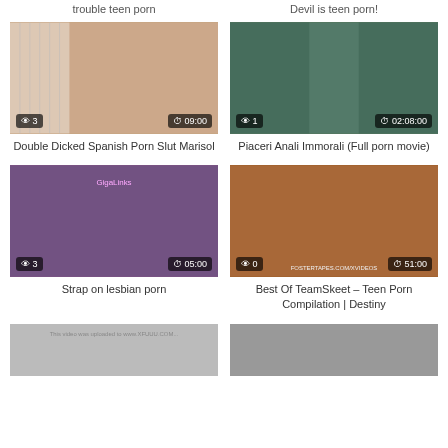trouble teen porn
Devil is teen porn!
[Figure (photo): Video thumbnail with view count badge showing 3 and duration badge showing 09:00]
Double Dicked Spanish Porn Slut Marisol
[Figure (photo): Video thumbnail with view count badge showing 1 and duration badge showing 02:08:00]
Piaceri Anali Immorali (Full porn movie)
[Figure (photo): Video thumbnail with view count badge showing 3 and duration badge showing 05:00]
Strap on lesbian porn
[Figure (photo): Video thumbnail with view count badge showing 0 and duration badge showing 51:00]
Best Of TeamSkeet – Teen Porn Compilation | Destiny
[Figure (photo): Partial video thumbnail at bottom left]
[Figure (photo): Partial video thumbnail at bottom right]